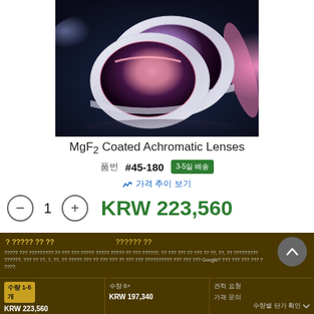[Figure (photo): Two optical lens elements with MgF2 anti-reflection coating, showing purple/pink iridescent coatings on white-rimmed circular glass lenses, photographed on a dark reflective surface with dramatic lighting.]
MgF₂ Coated Achromatic Lenses
품번 #45-180   3-5일 배송
가격 추이 보기
1   KRW 223,560
? ????? ?? ??   ?????? ??   ????? ??? ????????? ?? ??? ??? ????? ????? ????? ?? ??? ??????. ?? ??? ??? ?? ??? ?? ??, ??, ?? ????????? ??????. ??? ?? ??, ?, ??, ?? ????? ??? ?? ??? ??? ?? ??? ??? ?????????? ??? ??? ??? Google? ??? ??? ??? ??? ? ????.
| 수량 1-5개 | 수량 6+ | 견적 요청 |
| --- | --- | --- |
| KRW 223,560 | KRW 197,340 | 가격 문의 |